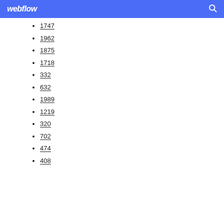webflow
1747
1962
1875
1718
332
632
1989
1219
320
702
474
408